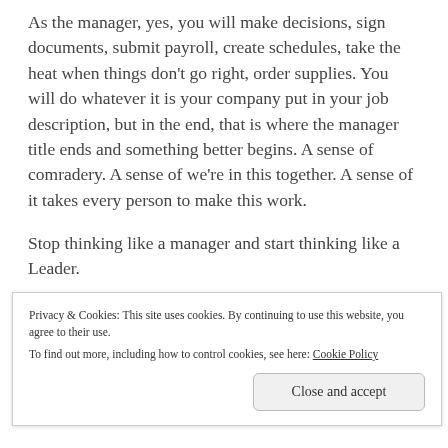As the manager, yes, you will make decisions, sign documents, submit payroll, create schedules, take the heat when things don't go right, order supplies. You will do whatever it is your company put in your job description, but in the end, that is where the manager title ends and something better begins. A sense of comradery. A sense of we're in this together. A sense of it takes every person to make this work.
Stop thinking like a manager and start thinking like a Leader.
You are a TEAM LEADER. Simple and sweet. Your job as a
Privacy & Cookies: This site uses cookies. By continuing to use this website, you agree to their use.
To find out more, including how to control cookies, see here: Cookie Policy